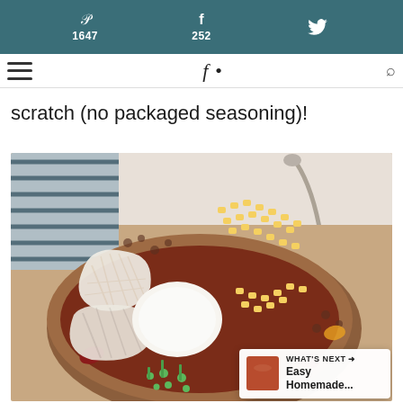Pinterest 1647 | Facebook 252 | Twitter
nav logo / hamburger / search
scratch (no packaged seasoning)!
[Figure (photo): Bowl of chili topped with shredded cheese, sour cream, corn kernels, and sliced green onions, with a spoon resting in it, on a wooden board]
WHAT'S NEXT → Easy Homemade...